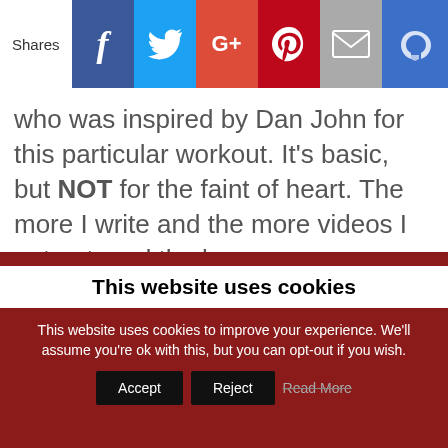[Figure (other): Social share bar with Facebook, Twitter, Google+, Pinterest, Email, and Feather buttons]
who was inspired by Dan John for this particular workout. It's basic, but NOT for the faint of heart. The more I write and the more videos I put out, and the longer my Underground Strength Gym evolves, I keep learning… This is not … [Read more...]
FILED UNDER: ARTICLES, MUSCLE BUILDING, STRENGTH BUILDING, SUCCESS, ZACH'S WORKOUTS
This website uses cookies
This website uses cookies to improve your experience. We'll assume you're ok with this, but you can opt-out if you wish.
Accept   Reject   Read More